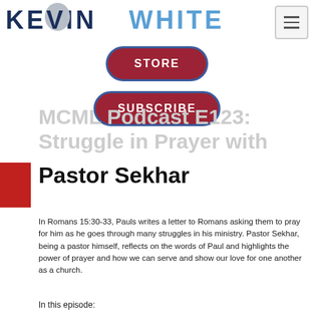KEVIN WHITE
[Figure (screenshot): STORE button — red pill-shaped button with blue border]
[Figure (screenshot): SUBSCRIBE button — red pill-shaped button with blue border]
MCML Podcast E123: Struggle in Prayer with Pastor Sekhar
In Romans 15:30-33, Pauls writes a letter to Romans asking them to pray for him as he goes through many struggles in his ministry. Pastor Sekhar, being a pastor himself, reflects on the words of Paul and highlights the power of prayer and how we can serve and show our love for one another as a church.
In this episode: